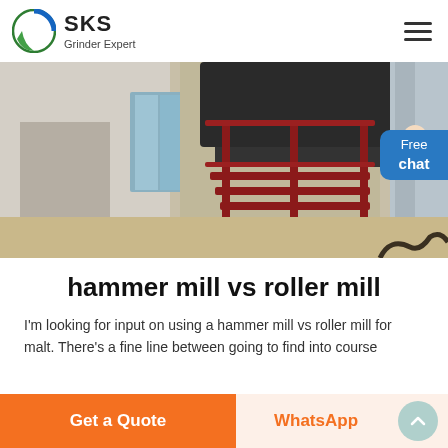SKS Grinder Expert
[Figure (photo): Industrial mill equipment with red metal staircase inside a large factory/warehouse building. A small inset image shows a customer service representative in the top right corner.]
hammer mill vs roller mill
I'm looking for input on using a hammer mill vs roller mill for malt. There's a fine line between going to find into course
Get a Quote | WhatsApp